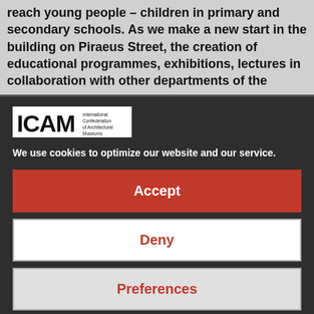reach young people – children in primary and secondary schools. As we make a new start in the building on Piraeus Street, the creation of educational programmes, exhibitions, lectures in collaboration with other departments of the
[Figure (logo): ICAM logo — International Confederation of Architectural Museums]
We use cookies to optimize our website and our service.
Accept
Deny
Preferences
Cookie Policy   Privacy Statement   Impressum
Leave a Comment